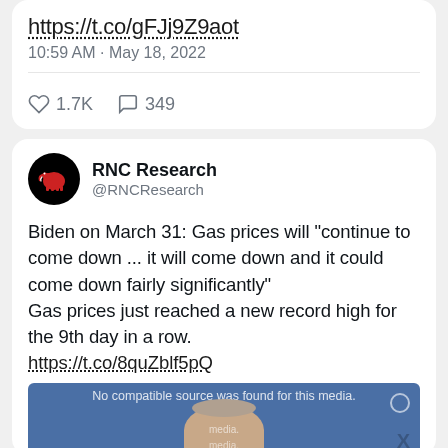https://t.co/gFJj9Z9aot
10:59 AM · May 18, 2022
1.7K  349
RNC Research @RNCResearch
Biden on March 31: Gas prices will "continue to come down ... it will come down and it could come down fairly significantly"
Gas prices just reached a new record high for the 9th day in a row.
https://t.co/8quZblf5pQ
[Figure (screenshot): Partially visible video embed with blue background showing a face, overlay text 'No compatible source was found for this media.', and an X watermark]